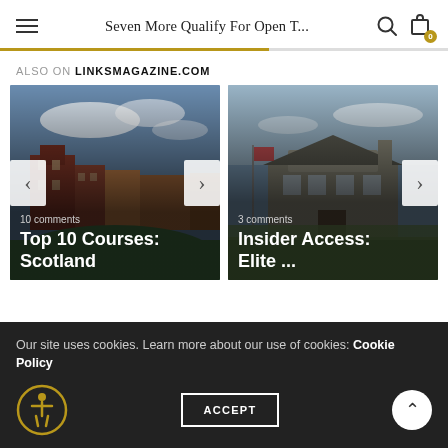Seven More Qualify For Open T...
ALSO ON LINKSMAGAZINE.COM
[Figure (photo): Aerial view of St Andrews or similar Scottish golf course town with red brick building and golf green, overlaid with text '10 comments' and 'Top 10 Courses: Scotland']
[Figure (photo): Exterior of stone clubhouse building at dusk with flag pole and grassland, overlaid with text '3 comments' and 'Insider Access: Elite ...']
Our site uses cookies. Learn more about our use of cookies: Cookie Policy
ACCEPT